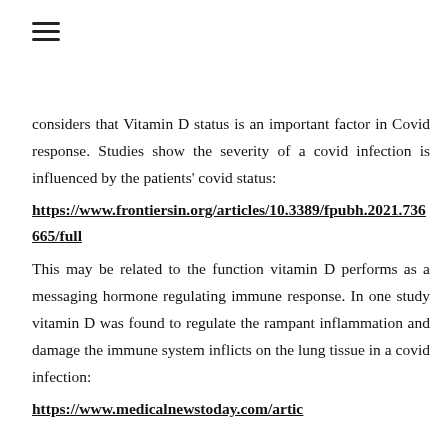considers that Vitamin D status is an important factor in Covid response. Studies show the severity of a covid infection is influenced by the patients' covid status:
https://www.frontiersin.org/articles/10.3389/fpubh.2021.736665/full
This may be related to the function vitamin D performs as a messaging hormone regulating immune response. In one study vitamin D was found to regulate the rampant inflammation and damage the immune system inflicts on the lung tissue in a covid infection:
https://www.medicalnewstoday.com/artic